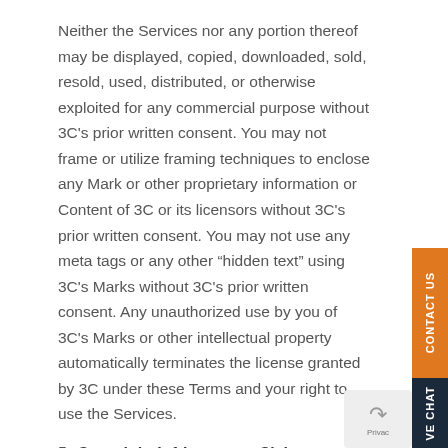Neither the Services nor any portion thereof may be displayed, copied, downloaded, sold, resold, used, distributed, or otherwise exploited for any commercial purpose without 3C’s prior written consent. You may not frame or utilize framing techniques to enclose any Mark or other proprietary information or Content of 3C or its licensors without 3C’s prior written consent. You may not use any meta tags or any other “hidden text” using 3C’s Marks without 3C’s prior written consent. Any unauthorized use by you of 3C’s Marks or other intellectual property automatically terminates the license granted by 3C under these Terms and your right to use the Services.
5. Copyright Infringement Claims